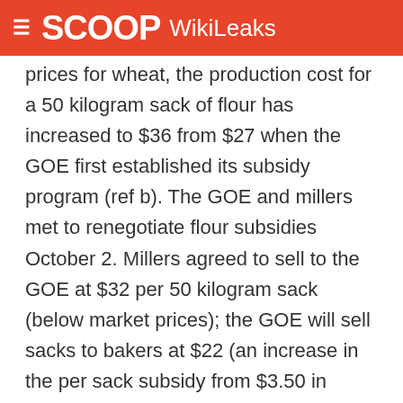SCOOP WikiLeaks
prices for wheat, the production cost for a 50 kilogram sack of flour has increased to $36 from $27 when the GOE first established its subsidy program (ref b). The GOE and millers met to renegotiate flour subsidies October 2. Millers agreed to sell to the GOE at $32 per 50 kilogram sack (below market prices); the GOE will sell sacks to bakers at $22 (an increase in the per sack subsidy from $3.50 in September to $10). Gonzalo Correa of the Ecuadorian Millers